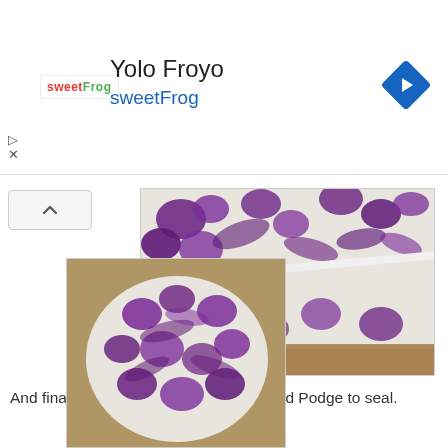[Figure (other): Advertisement banner for Yolo Froyo sweetFrog with logo, title text, blue subtitle text, and a blue navigation arrow diamond icon]
[Figure (photo): Close-up photo of purple floral patterned fabric/napkin being applied to a surface with a tool, with a brown kraft paper background. Watermark reads 'Purple Hues and Me']
And finally, apply additional layers of Mod Podge to seal.
[Figure (photo): Photo of a rounded rock or stone covered with purple floral patterned tissue paper/fabric, showing the Mod Podge decoupage result, on a brown kraft paper background]